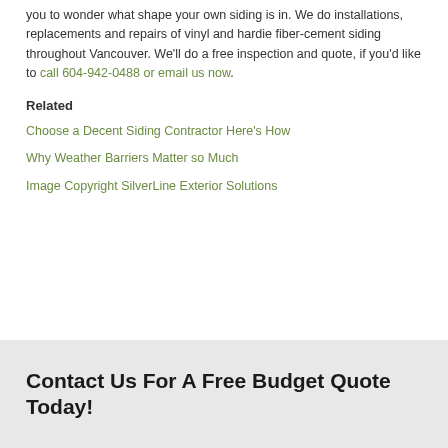you to wonder what shape your own siding is in. We do installations, replacements and repairs of vinyl and hardie fiber-cement siding throughout Vancouver. We'll do a free inspection and quote, if you'd like to call 604-942-0488 or email us now.
Related
Choose a Decent Siding Contractor Here's How
Why Weather Barriers Matter so Much
Image Copyright SilverLine Exterior Solutions
Contact Us For A Free Budget Quote Today!